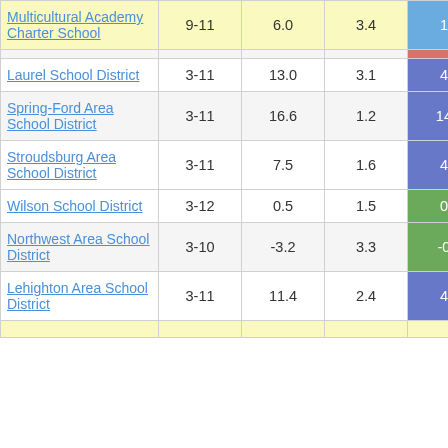| School/District | Grades | Col3 | Col4 | Col5 |
| --- | --- | --- | --- | --- |
| Multicultural Academy Charter School | 9-11 | 6.0 | 3.4 | 1.77 |
| (partial row) |  |  |  |  |
| Laurel School District | 3-11 | 13.0 | 3.1 | 4.19 |
| Spring-Ford Area School District | 3-11 | 16.6 | 1.2 | 14.02 |
| Stroudsburg Area School District | 3-11 | 7.5 | 1.6 | 4.70 |
| Wilson School District | 3-12 | 0.5 | 1.5 | 0.32 |
| Northwest Area School District | 3-10 | -3.2 | 3.3 | -0.97 |
| Lehighton Area School District | 3-11 | 11.4 | 2.4 | 4.84 |